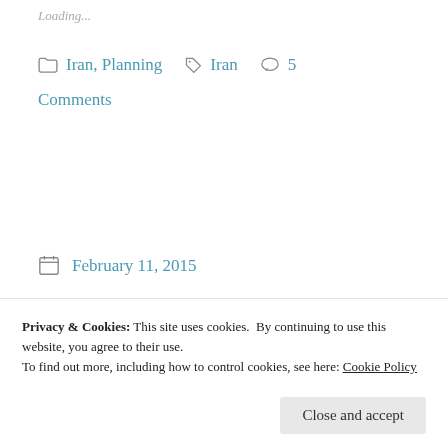Loading…
Iran, Planning  Iran  5 Comments
February 11, 2015
Context Creates Life
Privacy & Cookies: This site uses cookies. By continuing to use this website, you agree to their use.
To find out more, including how to control cookies, see here: Cookie Policy
Close and accept